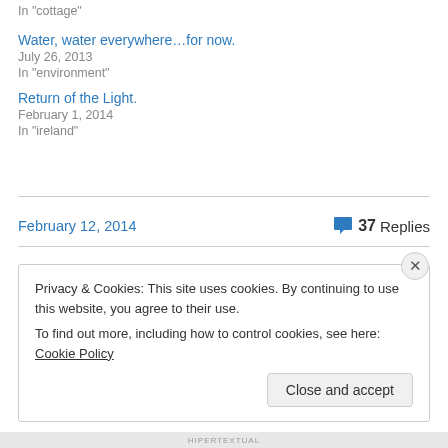In "cottage"
Water, water everywhere…for now.
July 26, 2013
In "environment"
Return of the Light.
February 1, 2014
In "ireland"
February 12, 2014
37 Replies
Privacy & Cookies: This site uses cookies. By continuing to use this website, you agree to their use.
To find out more, including how to control cookies, see here: Cookie Policy
Close and accept
HIPERTEXTUAL